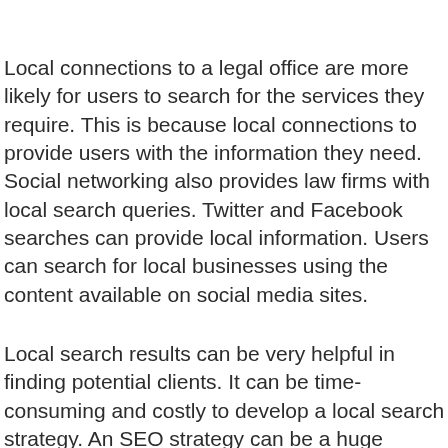Local connections to a legal office are more likely for users to search for the services they require. This is because local connections to provide users with the information they need. Social networking also provides law firms with local search queries. Twitter and Facebook searches can provide local information. Users can search for local businesses using the content available on social media sites.
Local search results can be very helpful in finding potential clients. It can be time-consuming and costly to develop a local search strategy. An SEO strategy can be a huge